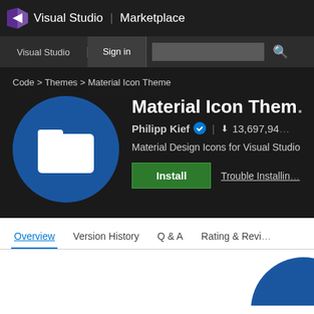Visual Studio | Marketplace
Visual Studio  Sign in
Code > Themes > Material Icon Theme
[Figure (logo): Blue circle with white folder icon - Material Icon Theme logo]
Material Icon Theme
Philipp Kief [verified] | 13,697,94...
Material Design Icons for Visual Studio...
Install   Trouble Installing...
Overview  Version History  Q & A  Rating & Reviews